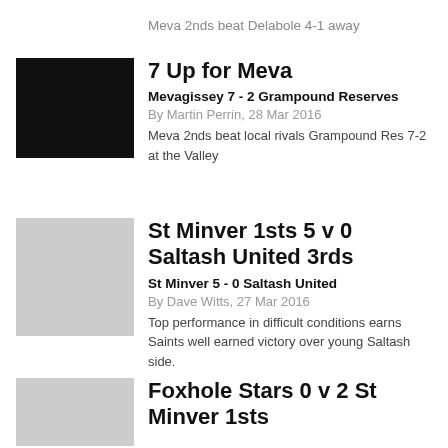Meva 2nds beat Delabole 4-1 away
[Figure (photo): Black square image placeholder for Mevagissey article]
7 Up for Meva
Mevagissey 7 - 2 Grampound Reserves
By Martin Perrin, 28 Mar 2016
Meva 2nds beat local rivals Grampound Res 7-2 at the Valley
[Figure (photo): Light grey square image placeholder for St Minver article]
St Minver 1sts 5 v 0 Saltash United 3rds
St Minver 5 - 0 Saltash United
By Dave Witts, 27 Mar 2016
Top performance in difficult conditions earns Saints well earned victory over young Saltash side.
[Figure (photo): Light grey square image placeholder for Foxhole Stars article]
Foxhole Stars 0 v 2 St Minver 1sts